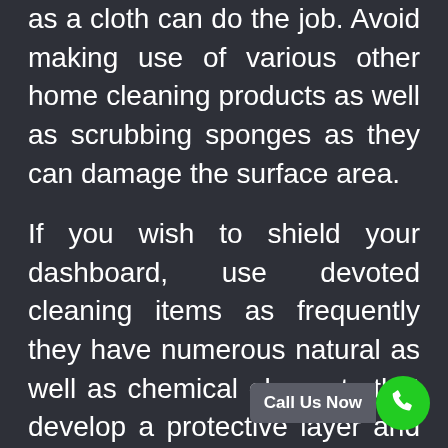as a cloth can do the job. Avoid making use of various other home cleaning products as well as scrubbing sponges as they can damage the surface area.
If you wish to shield your dashboard, use devoted cleaning items as frequently they have numerous natural as well as chemical elements that develop a protective layer and also keep your dashboard looking clean for longer.
The infotainment display can be a little bit a lot more made complex as it's an area that obtains touched all the time. Screen wipes or a cloth with soap and also water will work to clean the screen. Wipe it completely dry with a clean